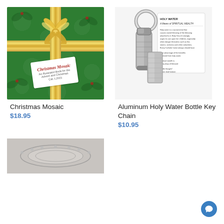[Figure (photo): Green gift-wrapped box with gold ribbon and bow, with a tag reading 'Christmas Mosaic']
Christmas Mosaic
$18.95
[Figure (photo): Aluminum holy water bottle key chain with silver cylindrical container on a key ring, shown next to a folded information card about holy water]
Aluminum Holy Water Bottle Key Chain
$10.95
[Figure (photo): Partial view of a white lace item at bottom left]